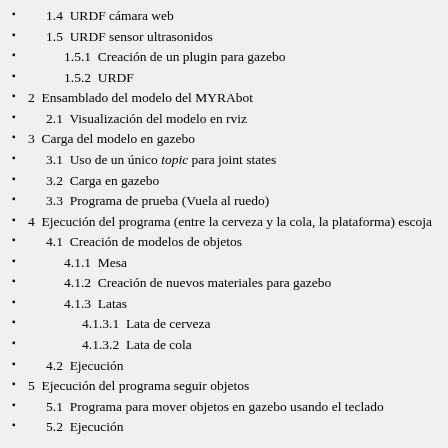1.4  URDF cámara web
1.5  URDF sensor ultrasonidos
1.5.1  Creación de un plugin para gazebo
1.5.2  URDF
2  Ensamblado del modelo del MYRAbot
2.1  Visualización del modelo en rviz
3  Carga del modelo en gazebo
3.1  Uso de un único topic para joint states
3.2  Carga en gazebo
3.3  Programa de prueba (Vuela al ruedo)
4  Ejecución del programa (entre la cerveza y la cola, la plataforma) escoja
4.1  Creación de modelos de objetos
4.1.1  Mesa
4.1.2  Creación de nuevos materiales para gazebo
4.1.3  Latas
4.1.3.1  Lata de cerveza
4.1.3.2  Lata de cola
4.2  Ejecución
5  Ejecución del programa seguir objetos
5.1  Programa para mover objetos en gazebo usando el teclado
5.2  Ejecución